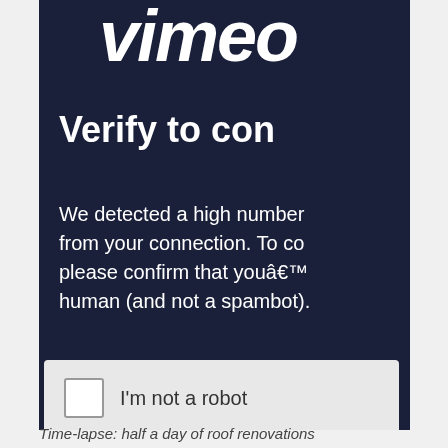[Figure (screenshot): Screenshot of Vimeo CAPTCHA verification page with dark navy background showing 'Verify to continue' heading and 'I'm not a robot' checkbox]
Time-lapse: half a day of roof renovations